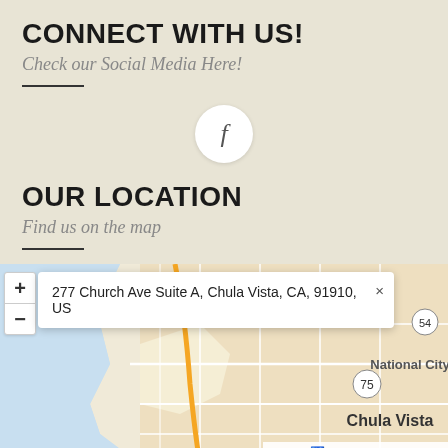CONNECT WITH US!
Check our Social Media Here!
[Figure (other): Facebook icon in a white circle on beige background]
OUR LOCATION
Find us on the map
[Figure (map): Map showing Chula Vista area with a blue location pin and popup showing address: 277 Church Ave Suite A, Chula Vista, CA, 91910, US. Map includes zoom controls (+/-) and shows National City and Chula Vista labels with road numbers 75 and 54. Bottom bar shows Imperial and Accessibility View.]